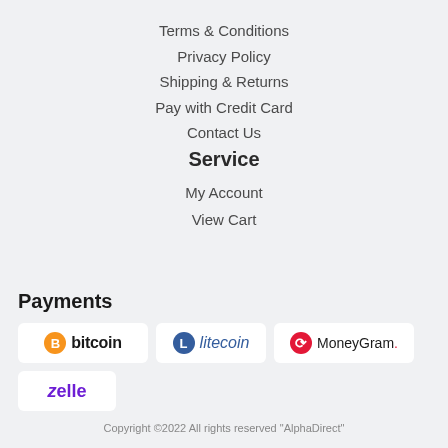Terms & Conditions
Privacy Policy
Shipping & Returns
Pay with Credit Card
Contact Us
Service
My Account
View Cart
Payments
[Figure (logo): Bitcoin payment logo]
[Figure (logo): Litecoin payment logo]
[Figure (logo): MoneyGram payment logo]
[Figure (logo): Zelle payment logo]
Copyright ©2022 All rights reserved "AlphaDirect"